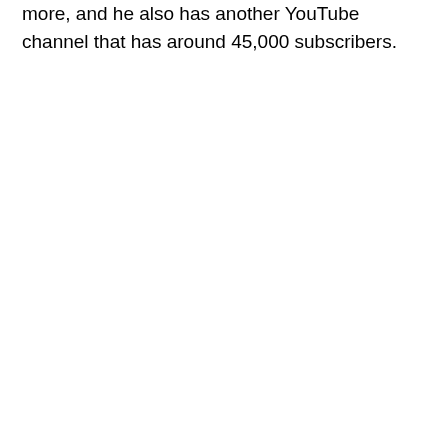more, and he also has another YouTube channel that has around 45,000 subscribers.